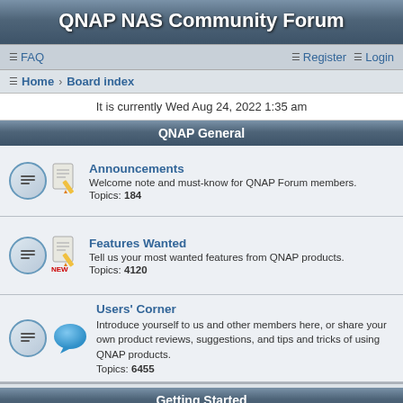QNAP NAS Community Forum
FAQ   Register   Login
Home · Board index
It is currently Wed Aug 24, 2022 1:35 am
QNAP General
Announcements
Welcome note and must-know for QNAP Forum members.
Topics: 184
Features Wanted
Tell us your most wanted features from QNAP products.
Topics: 4120
Users' Corner
Introduce yourself to us and other members here, or share your own product reviews, suggestions, and tips and tricks of using QNAP products.
Topics: 6455
Getting Started
Frequently Asked Questions
Topics: 17